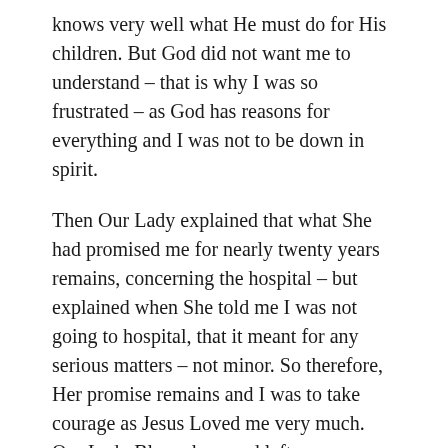knows very well what He must do for His children. But God did not want me to understand – that is why I was so frustrated – as God has reasons for everything and I was not to be down in spirit.
Then Our Lady explained that what She had promised me for nearly twenty years remains, concerning the hospital – but explained when She told me I was not going to hospital, that it meant for any serious matters – not minor. So therefore, Her promise remains and I was to take courage as Jesus Loved me very much. Our Lady Blessed me and left.
Set out below is the question I asked and the answer I received through 'Thornbush'. I wish God's Blessings upon you and ask that you pray